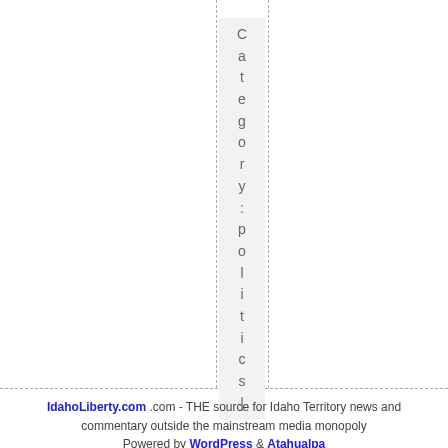Category:politics|
IdahoLiberty.com .com - THE source for Idaho Territory news and commentary outside the mainstream media monopoly Powered by WordPress & Atahualpa